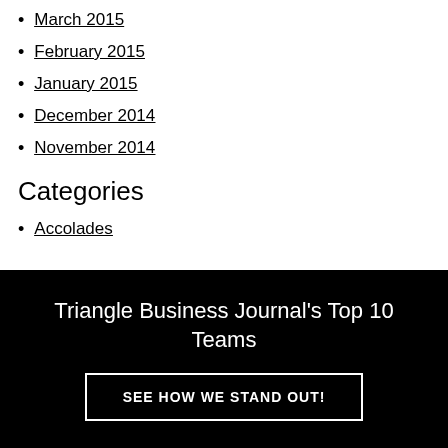March 2015
February 2015
January 2015
December 2014
November 2014
Categories
Accolades
Triangle Business Journal's Top 10 Teams
SEE HOW WE STAND OUT!